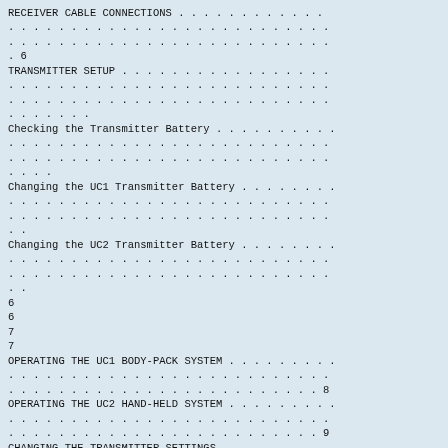RECEIVER CABLE CONNECTIONS . . . . . . . . . . . . . . . . . . . . . . . . . . . . . . . . . . . . . . . . . . . . . . 6
TRANSMITTER SETUP . . . . . . . . . . . . . . . . . . . . . . . . . . . . . . . . . . . . . . . . . . . . . . . . . .
Checking the Transmitter Battery . . . . . . . . . . . . . . . . . . . . . . . . . . . . . .
Changing the UC1 Transmitter Battery . . . . . . . . . . . . . . . . . . . . . . . . .
Changing the UC2 Transmitter Battery . . . . . . . . . . . . . . . . . . . . . . . .
6
6
7
7
OPERATING THE UC1 BODY-PACK SYSTEM . . . . . . . . . . . . . . . . . . . . . . . . . . . . . . . . . . . . . . . 8
OPERATING THE UC2 HAND-HELD SYSTEM . . . . . . . . . . . . . . . . . . . . . . . . . . . . . . . . . . . . . . . 9
CHANGING THE TRANSMITTER SETTINGS . . . . . . . . . . . . . . . . . . . . . . . . . . . . . . . . . . . . . . . 9